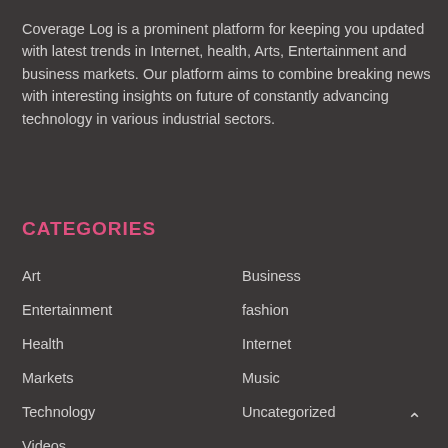Coverage Log is a prominent platform for keeping you updated with latest trends in Internet, health, Arts, Entertainment and business markets. Our platform aims to combine breaking news with interesting insights on future of constantly advancing technology in various industrial sectors.
CATEGORIES
Art
Business
Entertainment
fashion
Health
Internet
Markets
Music
Technology
Uncategorized
Videos